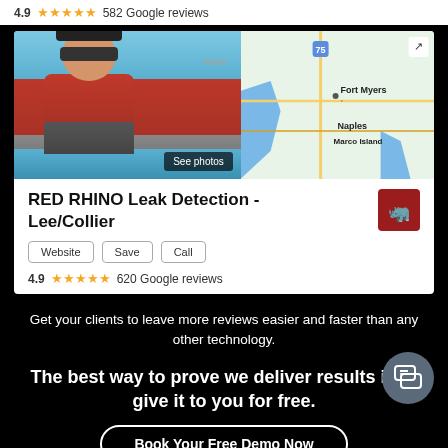4.9 ★★★★★ 582 Google reviews
[Figure (screenshot): Google Business Profile screenshot for RED RHINO Leak Detection - Lee/Collier showing a person in red shirt by pool on left, map of Fort Myers/Naples/Marco Island area on right, business name, Website/Save/Call buttons, and 4.9 rating with 620 Google reviews]
Get your clients to leave more reviews easier and faster than any other technology.
The best way to prove we deliver results is to give it to you for free.
Book Your Free Demo Now